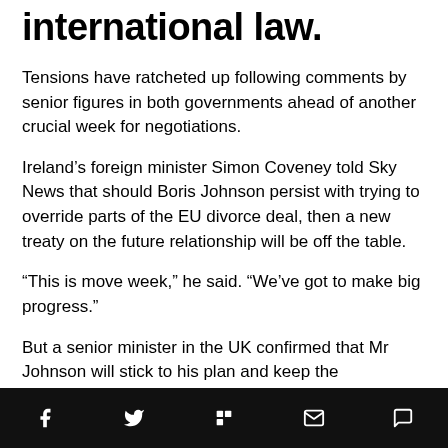international law.
Tensions have ratcheted up following comments by senior figures in both governments ahead of another crucial week for negotiations.
Ireland’s foreign minister Simon Coveney told Sky News that should Boris Johnson persist with trying to override parts of the EU divorce deal, then a new treaty on the future relationship will be off the table.
“This is move week,” he said. “We’ve got to make big progress.”
But a senior minister in the UK confirmed that Mr Johnson will stick to his plan and keep the controversial parts of the draft legislation in place.
Social share icons: Facebook, Twitter, Flipboard, Email, Comment